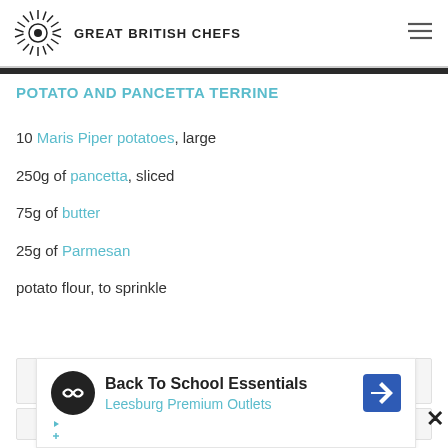GREAT BRITISH CHEFS
POTATO AND PANCETTA TERRINE
10 Maris Piper potatoes, large
250g of pancetta, sliced
75g of butter
25g of Parmesan
potato flour, to sprinkle
SAVE RECIPE
PRINT RECIPE
[Figure (other): Advertisement: Back To School Essentials - Leesburg Premium Outlets]
Back To School Essentials
Leesburg Premium Outlets